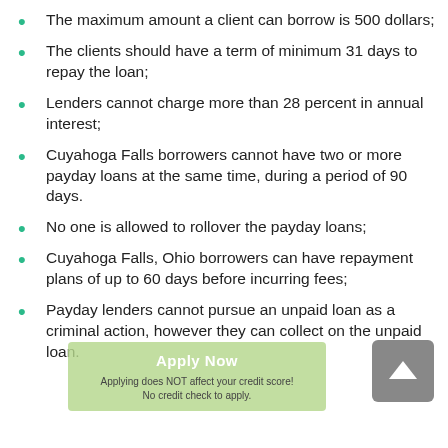The maximum amount a client can borrow is 500 dollars;
The clients should have a term of minimum 31 days to repay the loan;
Lenders cannot charge more than 28 percent in annual interest;
Cuyahoga Falls borrowers cannot have two or more payday loans at the same time, during a period of 90 days.
No one is allowed to rollover the payday loans;
Cuyahoga Falls, Ohio borrowers can have repayment plans of up to 60 days before incurring fees;
Payday lenders cannot pursue an unpaid loan as a criminal action, however they can collect on the unpaid loan.
[Figure (other): Green 'Apply Now' overlay button with text 'Applying does NOT affect your credit score! No credit check to apply.' and a grey scroll-to-top arrow button in the corner.]